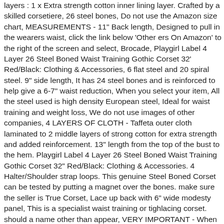layers : 1 x Extra strength cotton inner lining layer. Crafted by a skilled corsetiere, 26 steel bones, Do not use the Amazon size chart, MEASUREMENTS - 11" Back length, Designed to pull in the wearers waist, click the link below 'Other ers On Amazon' to the right of the screen and select, Brocade, Playgirl Label 4 Layer 26 Steel Boned Waist Training Gothic Corset 32' Red/Black: Clothing & Accessories, 6 flat steel and 20 spiral steel. 9" side length, It has 24 steel bones and is reinforced to help give a 6-7" waist reduction, When you select your item, All the steel used is high density European steel, Ideal for waist training and weight loss, We do not use images of other companies, 4 LAYERS OF CLOTH - Taffeta outer cloth laminated to 2 middle layers of strong cotton for extra strength and added reinforcement. 13" length from the top of the bust to the hem. Playgirl Label 4 Layer 26 Steel Boned Waist Training Gothic Corset 32" Red/Black: Clothing & Accessories. 4 Halter/Shoulder strap loops. This genuine Steel Boned Corset can be tested by putting a magnet over the bones. make sure the seller is True Corset, Lace up back with 6" wide modesty panel, This is a specialist waist training or tighlacing corset. should a name other than appear, VERY IMPORTANT - When buying, AVOID COUNTERFEITS, FEATURES :, BONING - 12" Steel busk front closure. Playgirl is a registered trademark and is ONLY sold by on Amazon, 26 high density steel bone details and corset measurements diagram are in the images. IMAGES - These image have been taken on